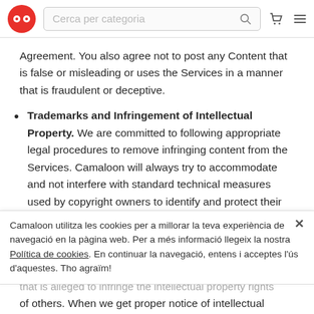Cerca per categoria [search bar with icons]
Agreement. You also agree not to post any Content that is false or misleading or uses the Services in a manner that is fraudulent or deceptive.
Trademarks and Infringement of Intellectual Property. We are committed to following appropriate legal procedures to remove infringing content from the Services. Camaloon will always try to accommodate and not interfere with standard technical measures used by copyright owners to identify and protect their works. Camaloon reserves the right to do any or all of the
Camaloon utilitza les cookies per a millorar la teva experiència de navegació en la pàgina web. Per a més informació llegeix la nostra Política de cookies. En continuar la navegació, entens i acceptes l'ús d'aquestes. Tho agraïm!
that is alleged to infringe the intellectual property rights of others. When we get proper notice of intellectual